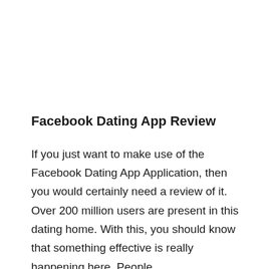Facebook Dating App Review
If you just want to make use of the Facebook Dating App Application, then you would certainly need a review of it. Over 200 million users are present in this dating home. With this, you should know that something effective is really happening here. People